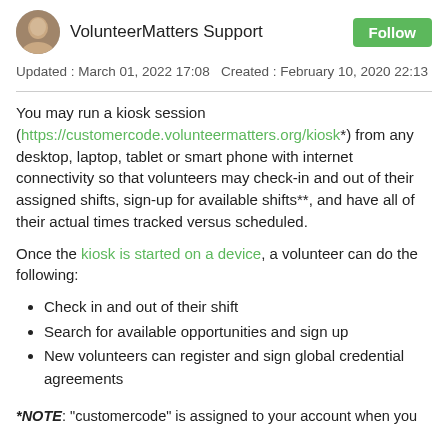VolunteerMatters Support
Updated : March 01, 2022 17:08 Created : February 10, 2020 22:13
You may run a kiosk session (https://customercode.volunteermatters.org/kiosk*) from any desktop, laptop, tablet or smart phone with internet connectivity so that volunteers may check-in and out of their assigned shifts, sign-up for available shifts**, and have all of their actual times tracked versus scheduled.
Once the kiosk is started on a device, a volunteer can do the following:
Check in and out of their shift
Search for available opportunities and sign up
New volunteers can register and sign global credential agreements
*NOTE: "customercode" is assigned to your account when you